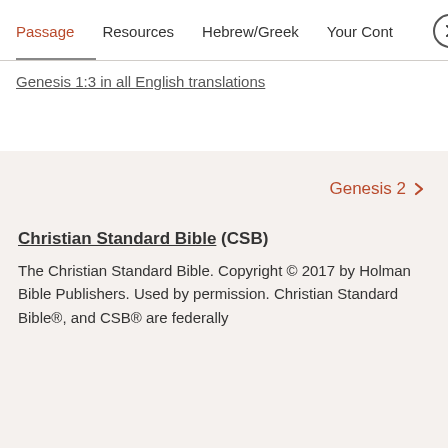Passage   Resources   Hebrew/Greek   Your Cont ›
Genesis 1:3 in all English translations
Genesis 2 ›
Christian Standard Bible (CSB)
The Christian Standard Bible. Copyright © 2017 by Holman Bible Publishers. Used by permission. Christian Standard Bible®, and CSB® are federally